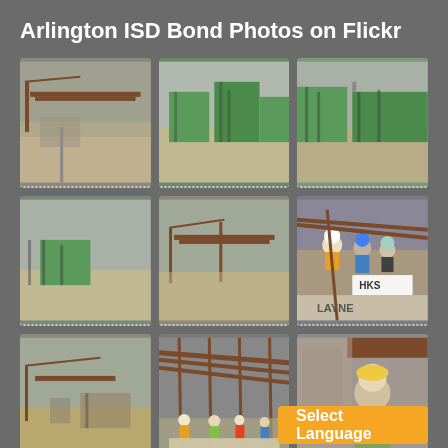Arlington ISD Bond Photos on Flickr
[Figure (photo): Grid of 9 construction site photos showing building under construction with green exterior panels, cranes, workers with hard hats, and steel framing. Photos appear to be from Arlington ISD bond construction project.]
Select Language